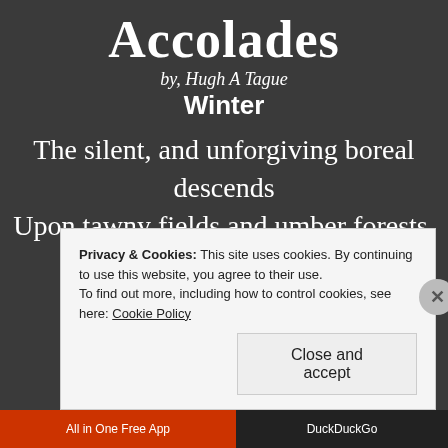Accolades
by, Hugh A Tague
Winter
The silent, and unforgiving boreal descends
Upon tawny fields and umber forests.
Privacy & Cookies: This site uses cookies. By continuing to use this website, you agree to their use.
To find out more, including how to control cookies, see here: Cookie Policy
Close and accept